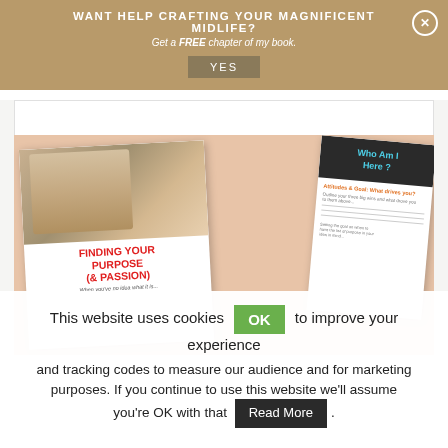WANT HELP CRAFTING YOUR MAGNIFICENT MIDLIFE?
Get a FREE chapter of my book.
YES
[Figure (illustration): Book mockup showing 'Finding Your Purpose (& Passion)' workbook with photo of blonde woman, alongside a dark-headed worksheet card titled 'Who Am I Here?']
This website uses cookies to improve your experience and tracking codes to measure our audience and for marketing purposes. If you continue to use this website we'll assume you're OK with that. Read More.